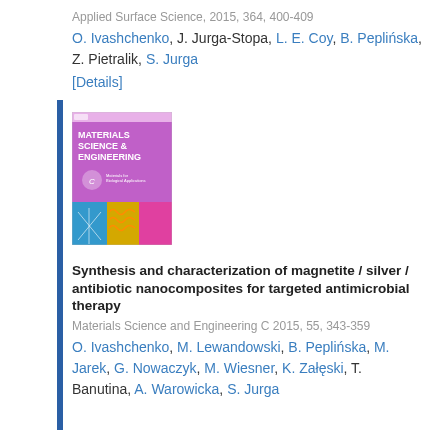Applied Surface Science, 2015, 364, 400-409
O. Ivashchenko, J. Jurga-Stopa, L. E. Coy, B. Peplińska, Z. Pietralik, S. Jurga
[Details]
[Figure (photo): Cover image of Materials Science & Engineering journal, featuring a purple background with the journal title and colorful bottom panels showing scientific imagery.]
Synthesis and characterization of magnetite / silver / antibiotic nanocomposites for targeted antimicrobial therapy
Materials Science and Engineering C 2015, 55, 343-359
O. Ivashchenko, M. Lewandowski, B. Peplińska, M. Jarek, G. Nowaczyk, M. Wiesner, K. Załęski, T. Banutina, A. Warowicka, S. Jurga